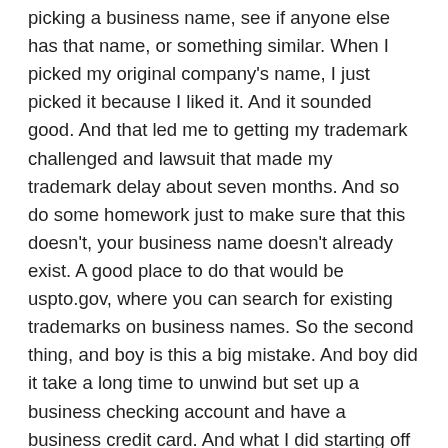picking a business name, see if anyone else has that name, or something similar. When I picked my original company's name, I just picked it because I liked it. And it sounded good. And that led me to getting my trademark challenged and lawsuit that made my trademark delay about seven months. And so do some homework just to make sure that this doesn't, your business name doesn't already exist. A good place to do that would be uspto.gov, where you can search for existing trademarks on business names. So the second thing, and boy is this a big mistake. And boy did it take a long time to unwind but set up a business checking account and have a business credit card. And what I did starting off was I commingled my personal expenses and bank accounts with the business. And I think that you know, right out of the gate, you don't need to have a bookkeeper or an accountant to do your books. I think that should be something that you add very early on, just so you can know your numbers and your profitability. But when you take